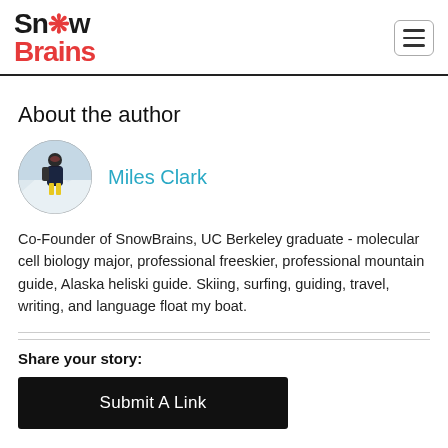SnowBrains
About the author
[Figure (photo): Circular avatar photo of Miles Clark, a skier in mountain gear with yellow pants in a snowy setting]
Miles Clark
Co-Founder of SnowBrains, UC Berkeley graduate - molecular cell biology major, professional freeskier, professional mountain guide, Alaska heliski guide. Skiing, surfing, guiding, travel, writing, and language float my boat.
Share your story:
Submit A Link